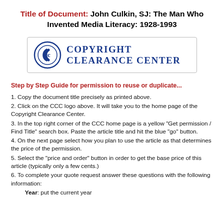Title of Document: John Culkin, SJ: The Man Who Invented Media Literacy: 1928-1993
[Figure (logo): Copyright Clearance Center logo with CCC circular emblem and text]
Step by Step Guide for permission to reuse or duplicate...
1. Copy the document title precisely as printed above.
2. Click on the CCC logo above. It will take you to the home page of the Copyright Clearance Center.
3. In the top right corner of the CCC home page is a yellow "Get permission / Find Title" search box. Paste the article title and hit the blue "go" button.
4. On the next page select how you plan to use the article as that determines the price of the permission.
5. Select the "price and order" button in order to get the base price of this article (typically only a few cents.)
6. To complete your quote request answer these questions with the following information:
Year: put the current year